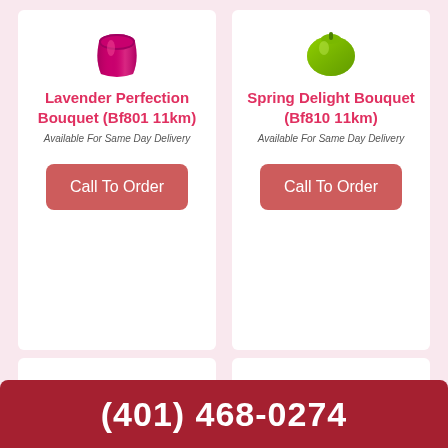[Figure (illustration): Magenta/purple vase with flower arrangement, partially cropped at top]
Lavender Perfection Bouquet (Bf801 11km)
Available For Same Day Delivery
Call To Order
[Figure (illustration): Green round vase with flower arrangement, partially cropped at top]
Spring Delight Bouquet (Bf810 11km)
Available For Same Day Delivery
Call To Order
[Figure (photo): Pink and magenta flower bouquet with decorative butterfly, partially visible]
[Figure (photo): Orange and peach mixed flower bouquet, partially visible]
(401) 468-0274